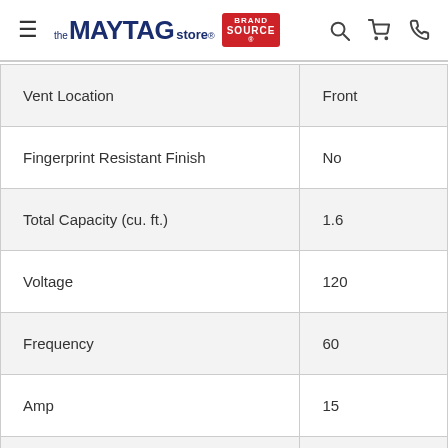the MAYTAG store® BRAND SOURCE
| Specification | Value |
| --- | --- |
| Vent Location | Front |
| Fingerprint Resistant Finish | No |
| Total Capacity (cu. ft.) | 1.6 |
| Voltage | 120 |
| Frequency | 60 |
| Amp | 15 |
| Appliance Color | Black |